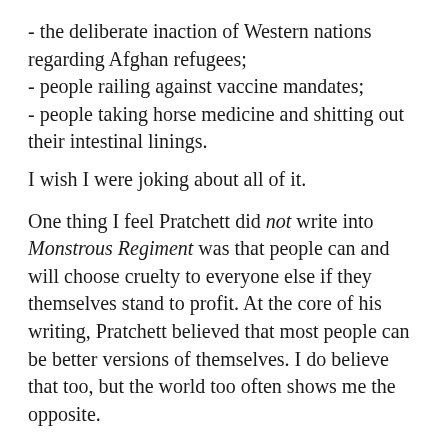- the deliberate inaction of Western nations regarding Afghan refugees;
- people railing against vaccine mandates;
- people taking horse medicine and shitting out their intestinal linings.
I wish I were joking about all of it.
One thing I feel Pratchett did not write into Monstrous Regiment was that people can and will choose cruelty to everyone else if they themselves stand to profit. At the core of his writing, Pratchett believed that most people can be better versions of themselves. I do believe that too, but the world too often shows me the opposite.
In any case, I didn't turn to re-read Monstrous Regiment out of nostalgia, but